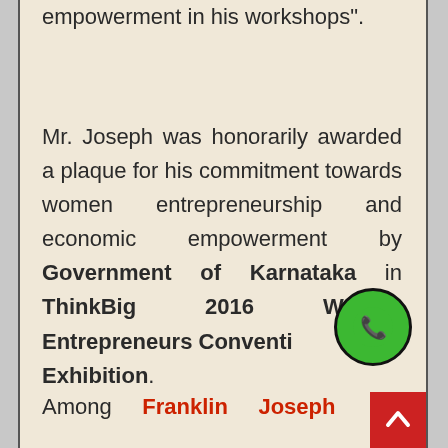empowerment in his workshops".
Mr. Joseph was honorarily awarded a plaque for his commitment towards women entrepreneurship and economic empowerment by Government of Karnataka in ThinkBig 2016 Women Entrepreneurs Convention & Exhibition.
Among Franklin Joseph